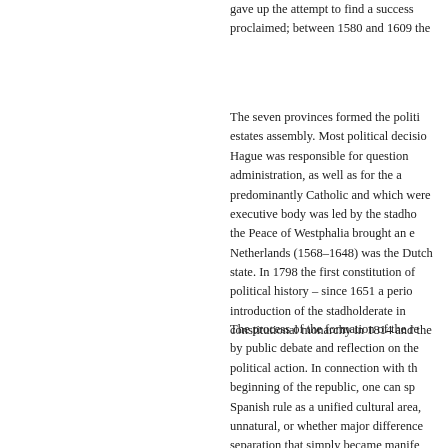gave up the attempt to find a successor proclaimed; between 1580 and 1609 the
The seven provinces formed the political estates assembly. Most political decisions Hague was responsible for questions administration, as well as for the administration predominantly Catholic and which were executive body was led by the stadholder the Peace of Westphalia brought an end Netherlands (1568–1648) was the Dutch state. In 1798 the first constitution of political history – since 1651 a period introduction of the stadholderate in constitutional monarchy in 1814 and the
The process of the formation of the republic by public debate and reflection on the political action. In connection with the beginning of the republic, one can speak Spanish rule as a unified cultural area, unnatural, or whether major differences separation that simply became manifest "Black Legend" to the war between S